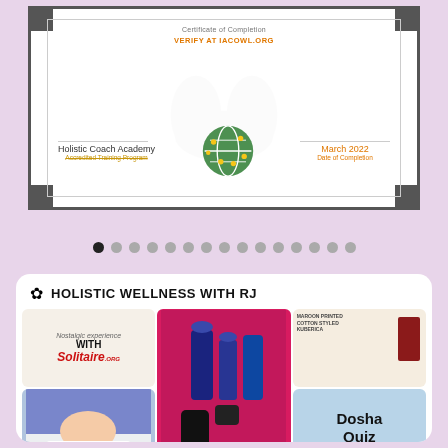[Figure (photo): Certificate from Holistic Coach Academy, Accredited Training Program, March 2022, Date of Completion, with a globe logo and verify URL]
[Figure (infographic): Row of navigation dots, first dot is black/active, remaining 14 are grey]
[Figure (screenshot): Social media profile card for HOLISTIC WELLNESS WITH RJ showing a grid of images including Solitaire.org nostalgic experience, beauty products on pink background, maroon printed dress, sleeping woman, Dosha Quiz card, Vaashi movie poster, chess image, and VAASHI profile photo]